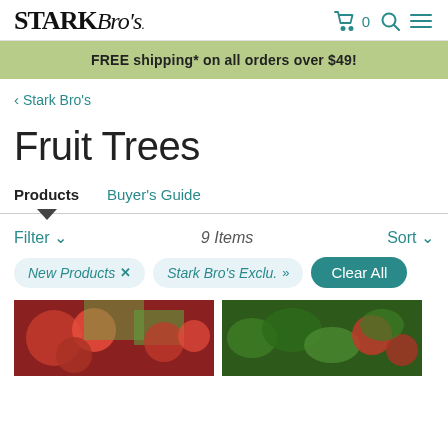Stark Bro's — Cart 0 — Search — Menu
FREE shipping* on all orders over $49!
< Stark Bro's
Fruit Trees
Products   Buyer's Guide
Filter ▼    9 Items    Sort ▼
New Products ×   Stark Bro's Exclu. »   Clear All